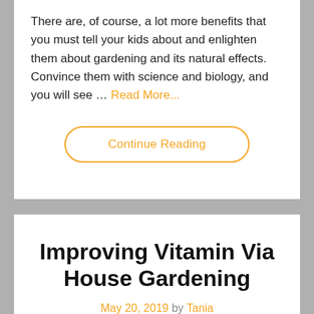There are, of course, a lot more benefits that you must tell your kids about and enlighten them about gardening and its natural effects. Convince them with science and biology, and you will see … Read More...
Continue Reading
Improving Vitamin Via House Gardening
May 20, 2019 by Tania
[Figure (photo): A dark brown background image with small text and a logo in the top corners, and a faint illustration at the bottom center]